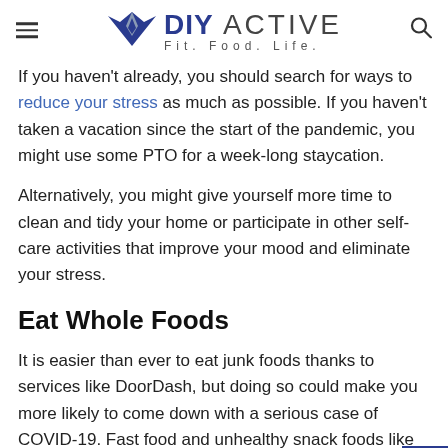DIY ACTIVE Fit. Food. Life.
If you haven't already, you should search for ways to reduce your stress as much as possible. If you haven't taken a vacation since the start of the pandemic, you might use some PTO for a week-long staycation.
Alternatively, you might give yourself more time to clean and tidy your home or participate in other self-care activities that improve your mood and eliminate your stress.
Eat Whole Foods
It is easier than ever to eat junk foods thanks to services like DoorDash, but doing so could make you more likely to come down with a serious case of COVID-19. Fast food and unhealthy snack foods like cookies and chips typically do not give your body the nutrients food that...